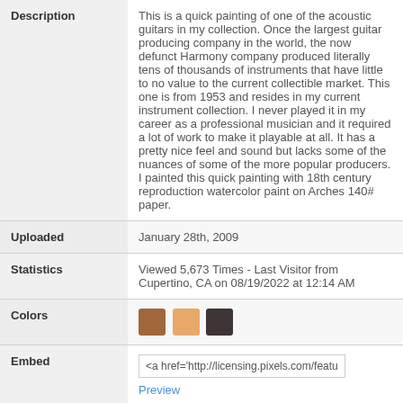| Field | Value |
| --- | --- |
| Description | This is a quick painting of one of the acoustic guitars in my collection. Once the largest guitar producing company in the world, the now defunct Harmony company produced literally tens of thousands of instruments that have little to no value to the current collectible market. This one is from 1953 and resides in my current instrument collection. I never played it in my career as a professional musician and it required a lot of work to make it playable at all. It has a pretty nice feel and sound but lacks some of the nuances of some of the more popular producers. I painted this quick painting with 18th century reproduction watercolor paint on Arches 140# paper. |
| Uploaded | January 28th, 2009 |
| Statistics | Viewed 5,673 Times  -  Last Visitor from Cupertino, CA on 08/19/2022 at 12:14 AM |
| Colors | [brown swatch] [tan swatch] [dark swatch] |
| Embed | <a href='http://licensing.pixels.com/featu | Preview |
| Sales Sheet | PDF |